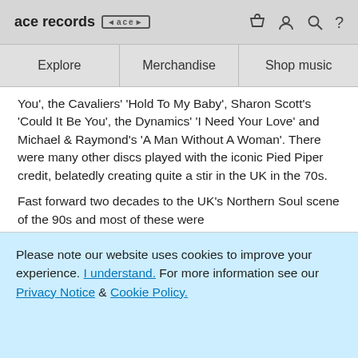ace records [ace logo] | cart | user | search | ?
Explore | Merchandise | Shop music
You', the Cavaliers' 'Hold To My Baby', Sharon Scott's 'Could It Be You', the Dynamics' 'I Need Your Love' and Michael & Raymond's 'A Man Without A Woman'. There were many other discs played with the iconic Pied Piper credit, belatedly creating quite a stir in the UK in the 70s.

Fast forward two decades to the UK's Northern Soul scene of the 90s and most of these were still...
Please note our website uses cookies to improve your experience. I understand. For more information see our Privacy Notice & Cookie Policy.